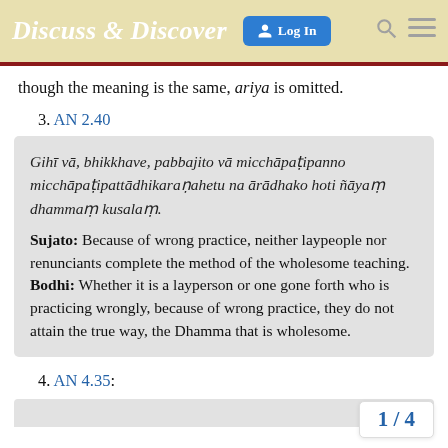Discuss & Discover  Log In
though the meaning is the same, ariya is omitted.
3. AN 2.40
Gihī vā, bhikkhave, pabbajito vā micchāpaṭipanno micchāpaṭipattādhikaraṇahetu na ārādhako hoti ñāyaṃ dhammaṃ kusalaṃ.
Sujato: Because of wrong practice, neither laypeople nor renunciants complete the method of the wholesome teaching.
Bodhi: Whether it is a layperson or one gone forth who is practicing wrongly, because of wrong practice, they do not attain the true way, the Dhamma that is wholesome.
4. AN 4.35:
1 / 4